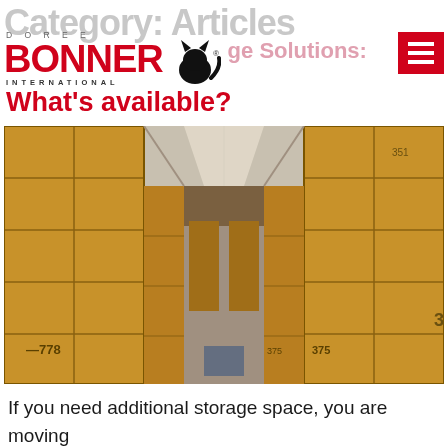Category: Articles
[Figure (logo): Doree Bonner International logo with black cat silhouette]
Storage Solutions: What's available?
[Figure (photo): Interior of a large warehouse with rows of tall wooden storage crates/containers stacked high on both sides, forming a corridor, numbered crates visible (e.g. 778, 375, 351)]
If you need additional storage space, you are moving home or office, or planning to spend a long period